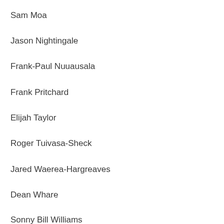Sam Moa
Jason Nightingale
Frank-Paul Nuuausala
Frank Pritchard
Elijah Taylor
Roger Tuivasa-Sheck
Jared Waerea-Hargreaves
Dean Whare
Sonny Bill Williams